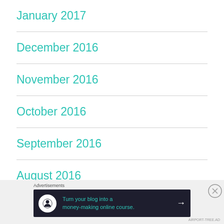January 2017
December 2016
November 2016
October 2016
September 2016
August 2016
July 2016
Advertisements
Turn your blog into a money-making online course.